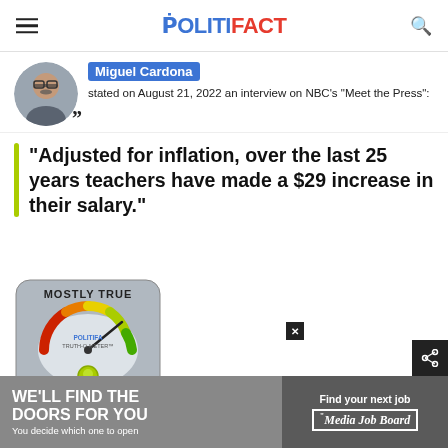POLITIFACT
[Figure (photo): Circular avatar photo of Miguel Cardona, a man with glasses]
Miguel Cardona stated on August 21, 2022 an interview on NBC's "Meet the Press":
"Adjusted for inflation, over the last 25 years teachers have made a $29 increase in their salary."
[Figure (infographic): PolitiFact Truth-O-Meter gauge showing MOSTLY TRUE rating]
[Figure (infographic): Advertisement banner: WE'LL FIND THE DOORS FOR YOU / You decide which one to open / Find your next job / Media Job Board]